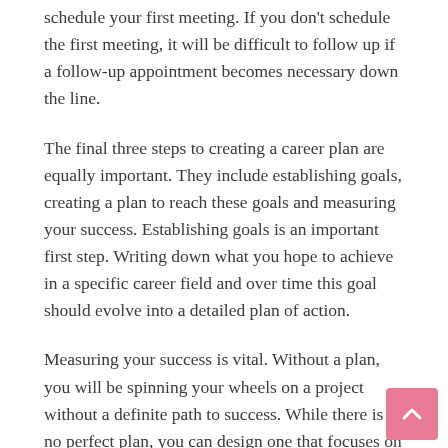schedule your first meeting. If you don't schedule the first meeting, it will be difficult to follow up if a follow-up appointment becomes necessary down the line.
The final three steps to creating a career plan are equally important. They include establishing goals, creating a plan to reach these goals and measuring your success. Establishing goals is an important first step. Writing down what you hope to achieve in a specific career field and over time this goal should evolve into a detailed plan of action.
Measuring your success is vital. Without a plan, you will be spinning your wheels on a project without a definite path to success. While there is no perfect plan, you can design one that focuses on reaching the end result you desire the most. This includes setting short-term goals, long-term goals and medium-term goals. Measuring your success will help you stay on track, as well as giving you the ammunition you need to address any problems that you may be experiencing along the way. This in